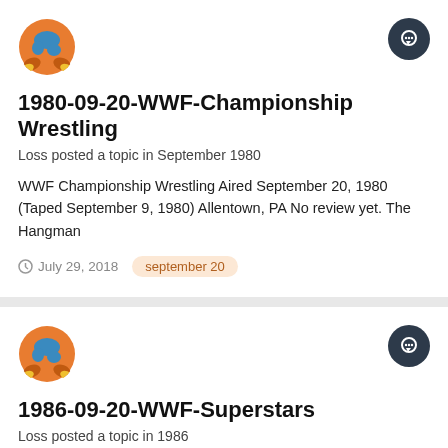1980-09-20-WWF-Championship Wrestling
Loss posted a topic in September 1980
WWF Championship Wrestling Aired September 20, 1980 (Taped September 9, 1980) Allentown, PA No review yet. The Hangman
July 29, 2018
september 20
1986-09-20-WWF-Superstars
Loss posted a topic in 1986
WWF Superstars of Wrestling Aired September 20, 1986 (Taped August 26, 1986) Providence, RI No review yet. American